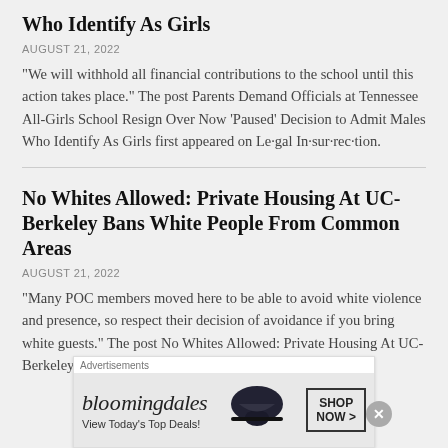Who Identify As Girls
AUGUST 21, 2022
"We will withhold all financial contributions to the school until this action takes place." The post Parents Demand Officials at Tennessee All-Girls School Resign Over Now ‘Paused’ Decision to Admit Males Who Identify As Girls first appeared on Le·gal In·sur·rec·tion.
No Whites Allowed: Private Housing At UC-Berkeley Bans White People From Common Areas
AUGUST 21, 2022
"Many POC members moved here to be able to avoid white violence and presence, so respect their decision of avoidance if you bring white guests." The post No Whites Allowed: Private Housing At UC-Berkeley Bans White...
[Figure (infographic): Bloomingdale's advertisement with hat image and SHOP NOW button]